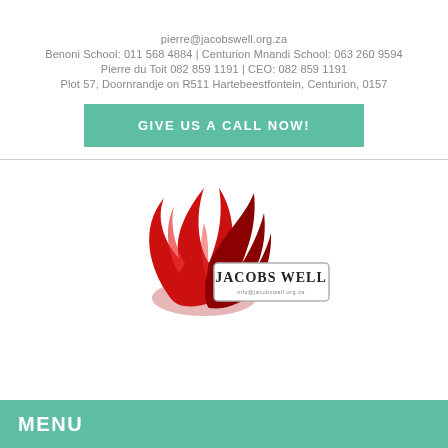pierre@jacobswell.org.za
Benoni School: 011 568 4884 | Centurion Mnandi School: 063 260 9594
Pierre du Toit 082 859 1191 | CEO: 082 859 1191
Plot 57, Doornrandje on R511 Hartebeestfontein, Centurion, 0157
GIVE US A CALL NOW!
[Figure (logo): Jacobs Well logo with red flame graphic and 'JACOBS WELL' text in a bordered label]
MENU